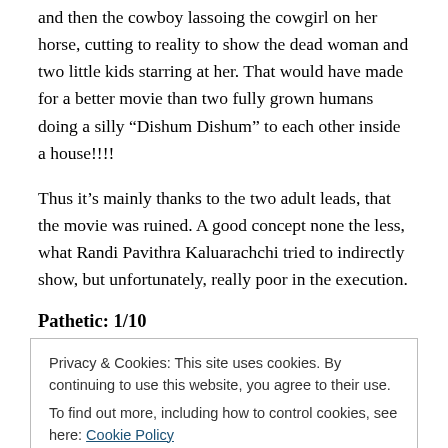and then the cowboy lassoing the cowgirl on her horse, cutting to reality to show the dead woman and two little kids starring at her. That would have made for a better movie than two fully grown humans doing a silly “Dishum Dishum” to each other inside a house!!!!
Thus it’s mainly thanks to the two adult leads, that the movie was ruined. A good concept none the less, what Randi Pavithra Kaluarachchi tried to indirectly show, but unfortunately, really poor in the execution.
Pathetic: 1/10
Privacy & Cookies: This site uses cookies. By continuing to use this website, you agree to their use.
To find out more, including how to control cookies, see here: Cookie Policy
[Close and accept button]
discusses the issue of late-term abortion. This was the